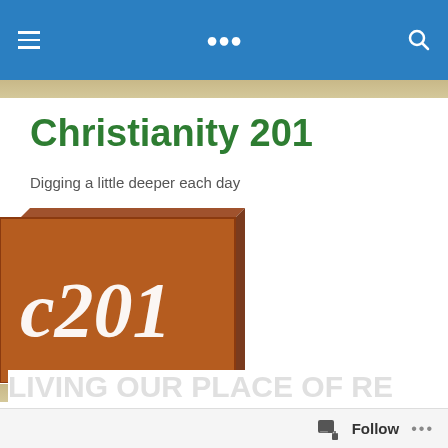Christianity 201 — navigation bar
Christianity 201
Digging a little deeper each day
[Figure (logo): Christianity 201 blog logo — a brown 3D brick/button with italic white text reading 'c201' on it]
TAGGED WITH CHRISTIAN LIVING
LIVING OUR PLACE OF RE… (partial, cut off)
Follow ···